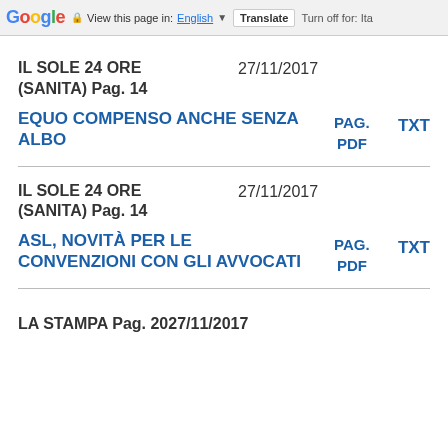Google  View this page in: English  Translate  Turn off for: Ita
IL SOLE 24 ORE (SANITA) Pag. 14   27/11/2017
EQUO COMPENSO ANCHE SENZA ALBO
PAG. PDF   TXT
IL SOLE 24 ORE (SANITA) Pag. 14   27/11/2017
ASL, NOVITÀ PER LE CONVENZIONI CON GLI AVVOCATI
PAG. PDF   TXT
LA STAMPA Pag. 2027/11/2017